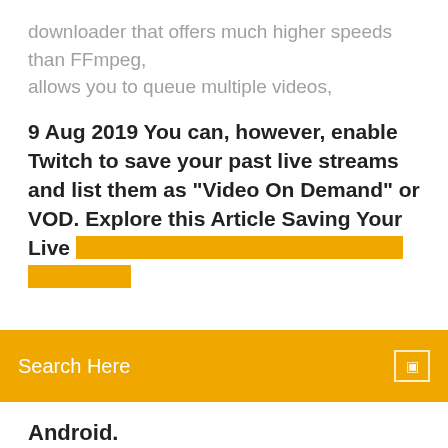downloader that offers much higher speeds than FFmpeg, allows you to queue multiple videos,
9 Aug 2019 You can, however, enable Twitch to save your past live streams and list them as "Video On Demand" or VOD. Explore this Article Saving Your Live Streams Saving Your Streams as Highlights
[Figure (screenshot): Orange search bar with 'Search Here' placeholder text and a small icon on the right]
Android.
Discover an easy way to block ads on Twitch on Windows or Android with AdLock. Get rid of annoying Twitch ads and enjoy your streaming video Here is how the Twitch App works; Hundreds of games are itemized in the primary directory. You have to click on the one you like to discover dozens of live videos of people playing the game. So you want to record your Twitch streams for later viewing, eh? Well, you've come to the right place. Here's how to do it - even if you're a viewer. Learn